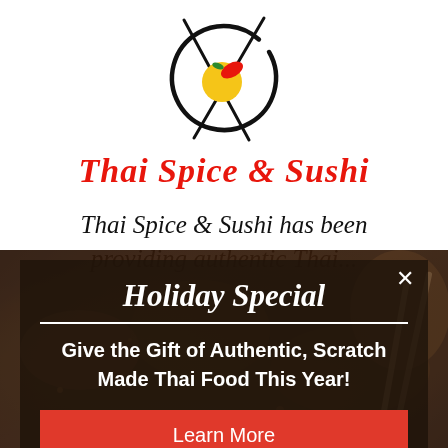[Figure (logo): Thai Spice & Sushi restaurant logo: circular brush stroke with a fish/dragon motif and a yellow/red circular element, with chopsticks crossing through it]
Thai Spice & Sushi
Thai Spice & Sushi has been providing authentic Thai...
[Figure (photo): Dark background food photo showing Thai/Asian cuisine dishes]
Holiday Special
Give the Gift of Authentic, Scratch Made Thai Food This Year!
Learn More